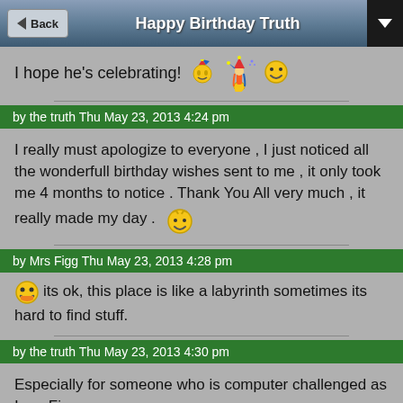Happy Birthday Truth
I hope he's celebrating! [emoji]
by the truth Thu May 23, 2013 4:24 pm
I really must apologize to everyone , I just noticed all the wonderfull birthday wishes sent to me , it only took me 4 months to notice . Thank You All very much , it really made my day .
by Mrs Figg Thu May 23, 2013 4:28 pm
its ok, this place is like a labyrinth sometimes its hard to find stuff.
by the truth Thu May 23, 2013 4:30 pm
Especially for someone who is computer challenged as I am Figgy